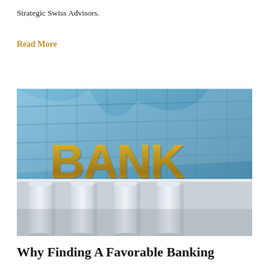Strategic Swiss Advisors.
Read More
[Figure (photo): Exterior of a bank building with large gold letters spelling BANK on white classical columns, with a modern glass curtain-wall skyscraper in the background reflecting a blue sky.]
Why Finding A Favorable Banking